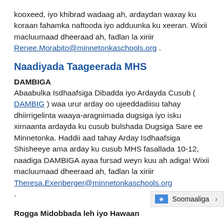kooxeed, iyo khibrad wadaag ah, ardaydan waxay ku koraan fahamka naftooda iyo adduunka ku xeeran. Wixii macluumaad dheeraad ah, fadlan la xiriir Renee.Morabito@minnetonkaschools.org .
Naadiyada Taageerada MHS
DAMBIGA
Abaabulka Isdhaafsiga Dibadda iyo Ardayda Cusub ( DAMBIG ) waa urur arday oo ujeeddadiisu tahay dhiirrigelinta waaya-aragnimada dugsiga iyo isku xirnaanta ardayda ku cusub bulshada Dugsiga Sare ee Minnetonka. Haddii aad tahay Arday Isdhaafsiga Shisheeye ama arday ku cusub MHS fasallada 10-12, naadiga DAMBIGA ayaa fursad weyn kuu ah adiga! Wixii macluumaad dheeraad ah, fadlan la xiriir Theresa.Exenberger@minnetonkaschools.org .
Rogga Midobbada leh iyo Hawaan